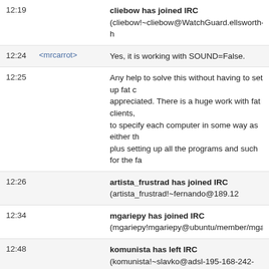12:19  cliebow has joined IRC (cliebow!~cliebow@WatchGuard.ellsworth-h...
12:24  <mrcarrot>  Yes, it is working with SOUND=False.
12:25  Any help to solve this without having to set up fat c... appreciated. There is a huge work with fat clients, to specify each computer in some way as either th... plus setting up all the programs and such for the fa...
12:26  artista_frustrad has joined IRC (artista_frustrad!~fernando@189.12...
12:34  mgariepy has joined IRC (mgariepy!mgariepy@ubuntu/member/mga...
12:48  komunista has left IRC (komunista!~slavko@adsl-195-168-242-229... Ping timeout: 244 seconds)
12:54  komunista has joined IRC (komunista!~slavko@adsl-195-098-017-1...
12:54  bergerx has left IRC (bergerx!~bergerx@176.240.194.77, Ping time...
12:55  bergerx has joined IRC (bergerx!~bergerx@176.240.194.77)
13:17  leio has left IRC (leio!~leio@gentoo/developer/leio, Read error: Conn...
13:2?  leio has joined IRC (leio!~leio@gentoo/developer/leio...